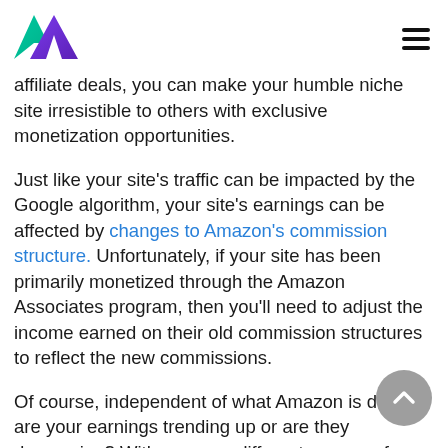[Logo: M-shaped icon in teal/purple gradient] [Hamburger menu icon]
affiliate deals, you can make your humble niche site irresistible to others with exclusive monetization opportunities.
Just like your site's traffic can be impacted by the Google algorithm, your site's earnings can be affected by changes to Amazon's commission structure. Unfortunately, if your site has been primarily monetized through the Amazon Associates program, then you'll need to adjust the income earned on their old commission structures to reflect the new commissions.
Of course, independent of what Amazon is doing, are your earnings trending up or are they decreasing? With so many different avenues for making money on